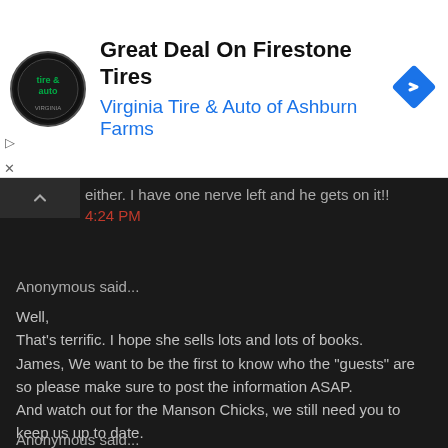[Figure (screenshot): Ad banner for Virginia Tire & Auto of Ashburn Farms showing logo, title 'Great Deal On Firestone Tires', subtitle in blue, and a blue diamond navigation icon]
either. I have one nerve left and he gets on it!!
4:24 PM
Anonymous said...
Well,
That's terrific. I hope she sells lots and lots of books.
James, We want to be the first to know who the "guests" are so please make sure to post the information ASAP.
And watch out for the Manson Chicks, we still need you to keep us up to date.
Thanks.
6:15 PM
Anonymous said...